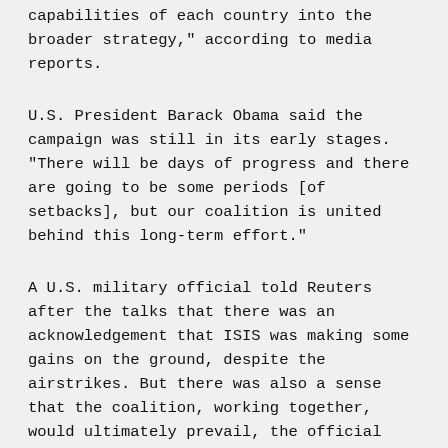capabilities of each country into the broader strategy," according to media reports.
U.S. President Barack Obama said the campaign was still in its early stages. “There will be days of progress and there are going to be some periods [of setbacks], but our coalition is united behind this long-term effort.”
A U.S. military official told Reuters after the talks that there was an acknowledgement that ISIS was making some gains on the ground, despite the airstrikes. But there was also a sense that the coalition, working together, would ultimately prevail, the official said.
It has with shole blacking st...